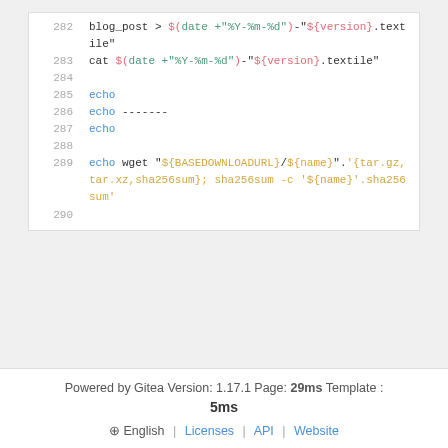[Figure (screenshot): Code block showing shell script lines 282-290 with syntax highlighting. Line 282: blog_post > $(date +"%Y-%m-%d")-"${version}.textile". Line 283: cat $(date +"%Y-%m-%d")-"${version}.textile". Line 284: empty. Line 285: echo. Line 286: echo -------. Line 287: echo. Line 288: empty. Line 289: echo wget "${BASEDOWNLOADURL}/${name}".'{tar.gz,tar.xz,sha256sum}; sha256sum -c '${name}'.sha256sum'. Line 290: empty.]
Powered by Gitea Version: 1.17.1 Page: 29ms Template : 5ms English | Licenses | API | Website